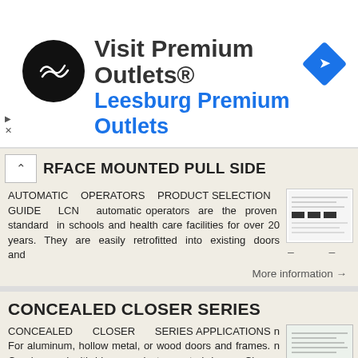[Figure (other): Advertisement banner: Visit Premium Outlets® Leesburg Premium Outlets with logo and navigation icon]
RFACE MOUNTED PULL SIDE
AUTOMATIC OPERATORS PRODUCT SELECTION GUIDE LCN automatic operators are the proven standard in schools and health care facilities for over 20 years. They are easily retrofitted into existing doors and
More information →
CONCEALED CLOSER SERIES
CONCEALED CLOSER SERIES APPLICATIONS n For aluminum, hollow metal, or wood doors and frames. n Can be used with hinge or pivot mounted door. n Closers for 4 or minimum 1-3/4 head frame or 4 top rail.